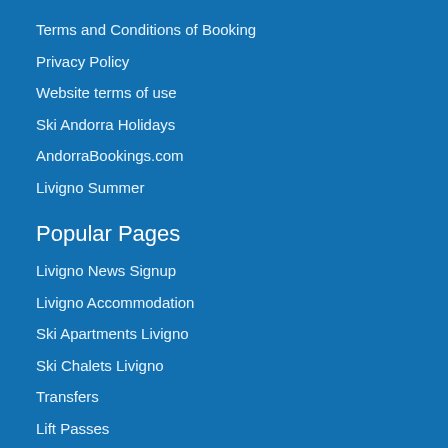Terms and Conditions of Booking
Privacy Policy
Website terms of use
Ski Andorra Holidays
AndorraBookings.com
Livigno Summer
Popular Pages
Livigno News Signup
Livigno Accommodation
Ski Apartments Livigno
Ski Chalets Livigno
Transfers
Lift Passes
Ski School